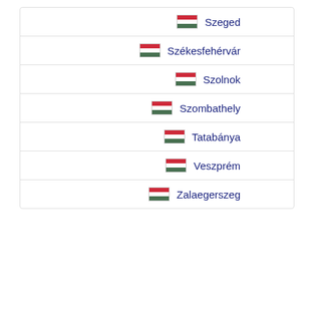Szeged
Székesfehérvár
Szolnok
Szombathely
Tatabánya
Veszprém
Zalaegerszeg